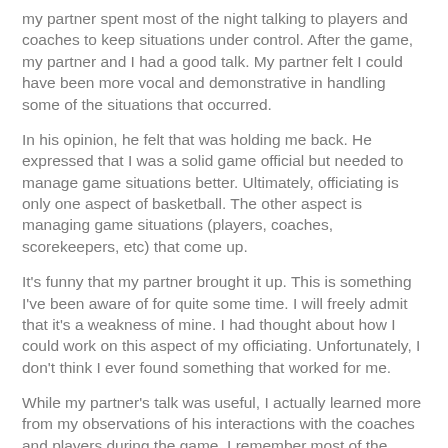my partner spent most of the night talking to players and coaches to keep situations under control.  After the game, my partner and I had a good talk.  My partner felt I could have been more vocal and demonstrative in handling some of the situations that occurred.
In his opinion, he felt that was holding me back.  He expressed that I was a solid game official but needed to manage game situations better.  Ultimately, officiating is only one aspect of basketball.  The other aspect is managing game situations (players, coaches, scorekeepers, etc) that come up.
It's funny that my partner brought it up.  This is something I've been aware of for quite some time.  I will freely admit that it's a weakness of mine.  I had thought about how I could work on this aspect of my officiating.  Unfortunately, I don't think I ever found something that worked for me.
While my partner's talk was useful, I actually learned more from my observations of his interactions with the coaches and players during the game.    I remember most of the